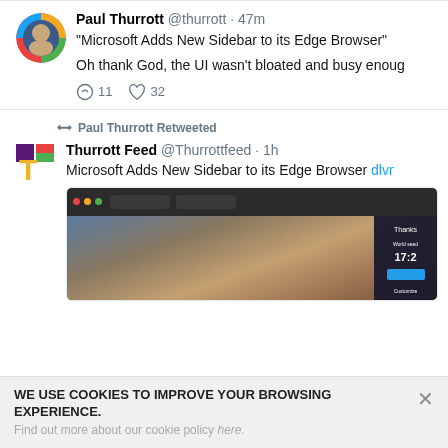[Figure (screenshot): Twitter/social feed screenshot showing tweets from Paul Thurrott and Thurrott Feed about Microsoft Edge Browser sidebar, plus a cookie consent bar at the bottom.]
Paul Thurrott @thurrott · 47m
"Microsoft Adds New Sidebar to its Edge Browser"
Oh thank God, the UI wasn't bloated and busy enoug
↩ 11 ♥ 32
Paul Thurrott Retweeted
Thurrott Feed @Thurrottfeed · 1h
Microsoft Adds New Sidebar to its Edge Browser dlvr...
WE USE COOKIES TO IMPROVE YOUR BROWSING EXPERIENCE.
Find out more about our cookie policy here.